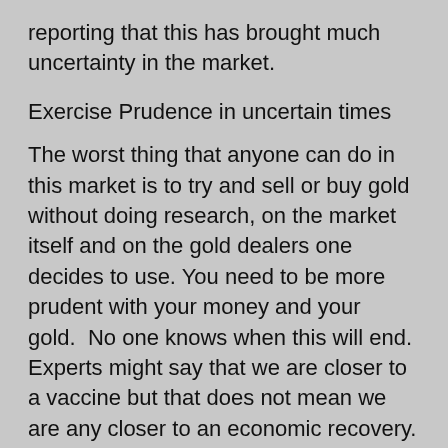reporting that this has brought much uncertainty in the market.
Exercise Prudence in uncertain times
The worst thing that anyone can do in this market is to try and sell or buy gold without doing research, on the market itself and on the gold dealers one decides to use. You need to be more prudent with your money and your gold.  No one knows when this will end. Experts might say that we are closer to a vaccine but that does not mean we are any closer to an economic recovery. Right now, governments are throwing “relief money” at the problem. This means they are creating and printing money out of nowhere this will eventually lead to the debasement of fiat currencies.
As a safe have investment, gold rises in value